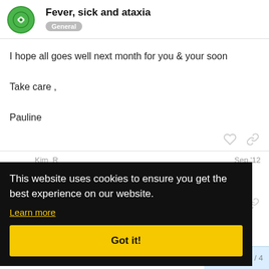Fever, sick and ataxia
General
I hope all goes well next month for you & your soon

Take care ,

Pauline
Kim_R
Sep '12
You experience ataxia when dealing with something, or w... infection or fever.
This website uses cookies to ensure you get the best experience on our website.
Learn more
Got it!